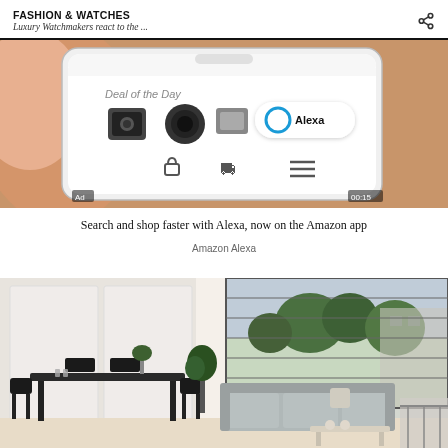FASHION & WATCHES
Luxury Watchmakers react to the ...
[Figure (screenshot): Ad screenshot of a smartphone showing Amazon app with Deal of the Day and Alexa feature. Timer shows 00:15 in bottom right. Ad label in bottom left.]
Search and shop faster with Alexa, now on the Amazon app
Amazon Alexa
[Figure (photo): Interior photo of a modern living room and dining area with grey sofa, dark dining table and chairs, plants, and large windows overlooking greenery.]